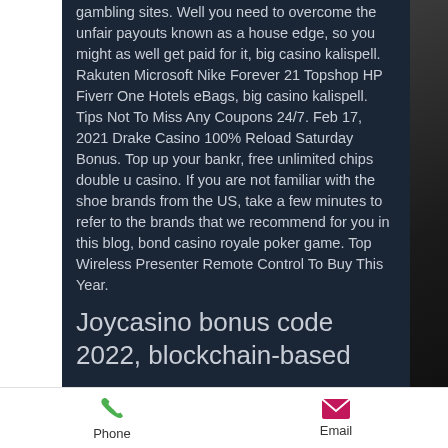gambling sites. Well you need to overcome the unfair payouts known as a house edge, so you might as well get paid for it, big casino kalispell. Rakuten Microsoft Nike Forever 21 Topshop HP Fiverr One Hotels eBags, big casino kalispell. Tips Not To Miss Any Coupons 24/7. Feb 17, 2021 Drake Casino 100% Reload Saturday Bonus. Top up your bankr, free unlimited chips double u casino. If you are not familiar with the shoe brands from the US, take a few minutes to refer to the brands that we recommend for you in this blog, bond casino royale poker game. Top Wireless Presenter Remote Control To Buy This Year.
Joycasino bonus code 2022, blockchain-based
Phone   Email